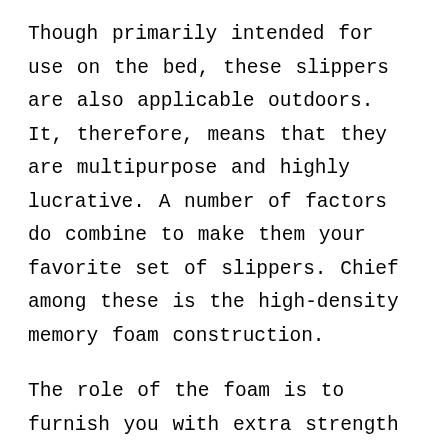Though primarily intended for use on the bed, these slippers are also applicable outdoors. It, therefore, means that they are multipurpose and highly lucrative. A number of factors do combine to make them your favorite set of slippers. Chief among these is the high-density memory foam construction.
The role of the foam is to furnish you with extra strength and support as you sleep. In this way, it reduces stress and the accompanying pain. Complementing this construction is the plush soft faux wool lining that adorns its interior. The lining is very friendly to your skin and absorbs loads of